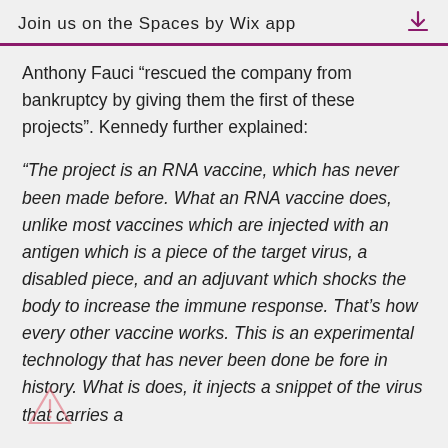Join us on the Spaces by Wix app
Anthony Fauci “rescued the company from bankruptcy by giving them the first of these projects”. Kennedy further explained:
“The project is an RNA vaccine, which has never been made before. What an RNA vaccine does, unlike most vaccines which are injected with an antigen which is a piece of the target virus, a disabled piece, and an adjuvant which shocks the body to increase the immune response. That’s how every other vaccine works. This is an experimental technology that has never been done before in history. What is does, it injects a snippet of the virus that carries a